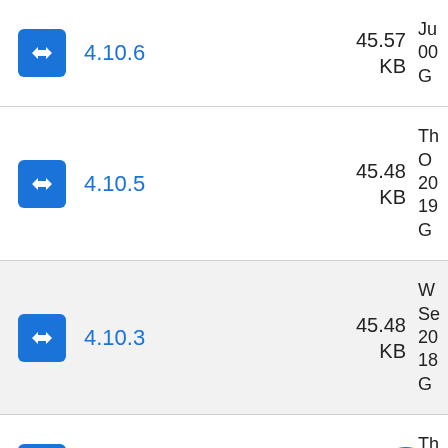4.10.6 — 45.57 KB — Ju... 00... G...
4.10.5 — 45.48 KB — Th... O... 20... 19... G...
4.10.3 — 45.48 KB — W... Se... 20... 18... G...
4.10.2 — 4... KB — Th... Au... 20...